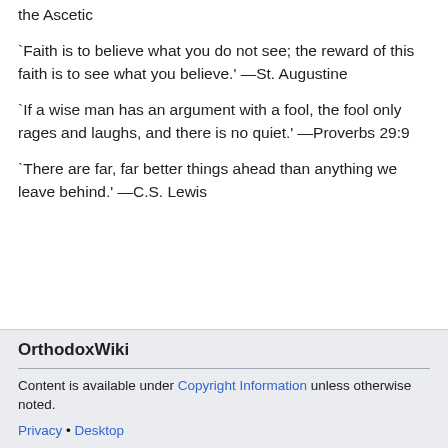the Ascetic
`Faith is to believe what you do not see; the reward of this faith is to see what you believe.' —St. Augustine
`If a wise man has an argument with a fool, the fool only rages and laughs, and there is no quiet.' —Proverbs 29:9
`There are far, far better things ahead than anything we leave behind.' —C.S. Lewis
OrthodoxWiki
Content is available under Copyright Information unless otherwise noted.
Privacy • Desktop